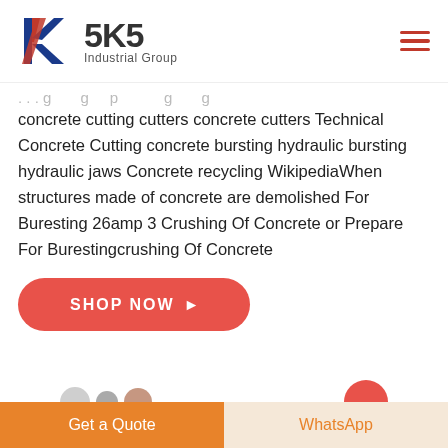[Figure (logo): SKS Industrial Group logo with stylized K in red and blue, bold SKS text, and 'Industrial Group' subtitle]
concrete cutting cutters concrete cutters Technical Concrete Cutting concrete bursting hydraulic bursting hydraulic jaws Concrete recycling WikipediaWhen structures made of concrete are demolished For Buresting 26amp 3 Crushing Of Concrete or Prepare For Burestingcrushing Of Concrete
[Figure (screenshot): SHOP NOW button in red/coral rounded rectangle with right arrow]
Get a Quote    WhatsApp